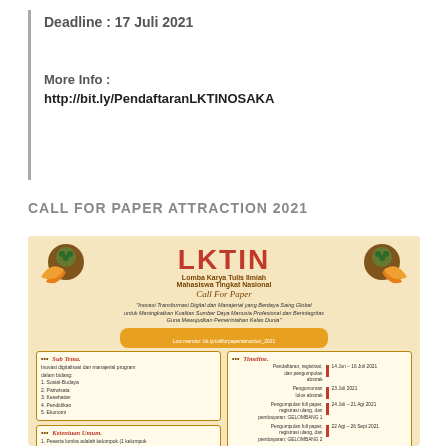Deadline : 17 Juli 2021
More Info :
http://bit.ly/PendaftaranLKTINOSAKA
CALL FOR PAPER ATTRACTION 2021
[Figure (infographic): LKTIN (Lomba Karya Tulis Ilmiah Mahasiswa Tingkat Nasional) Call For Paper poster with orange/brown decorative motifs, subtitle 'Inovasi Transformasi Digital dan Manajerial yang Berdaya Saing Global untuk Meningkatkan Kualitas Sumber Daya Manusia Profesional dan Berintegritas Guna Mewujudkan Pemerintahan Kelas Dunia', Sub Tema and Timeline boxes, and Ketentuan Umum section.]